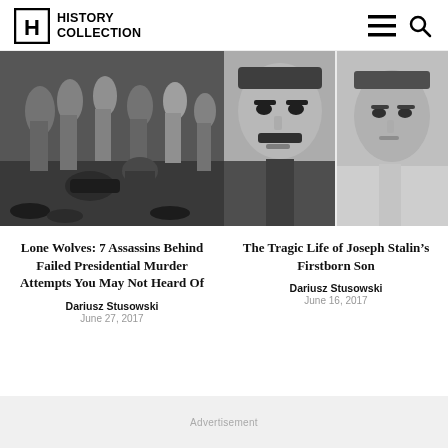HISTORY COLLECTION
[Figure (photo): Black and white historical photo showing people on the ground during a chaotic scene, appears to be an assassination attempt]
Lone Wolves: 7 Assassins Behind Failed Presidential Murder Attempts You May Not Heard Of
Dariusz Stusowski
June 27, 2017
[Figure (photo): Black and white composite portrait showing two men - Joseph Stalin on the left and his firstborn son on the right]
The Tragic Life of Joseph Stalin’s Firstborn Son
Dariusz Stusowski
June 16, 2017
Advertisement